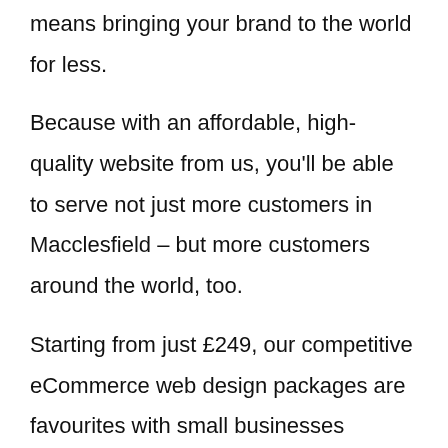that eCommerce websites bring for less. And it means bringing your brand to the world for less.
Because with an affordable, high-quality website from us, you'll be able to serve not just more customers in Macclesfield – but more customers around the world, too.
Starting from just £249, our competitive eCommerce web design packages are favourites with small businesses looking to keep costs down while still enjoying the benefits that a high-quality website brings.